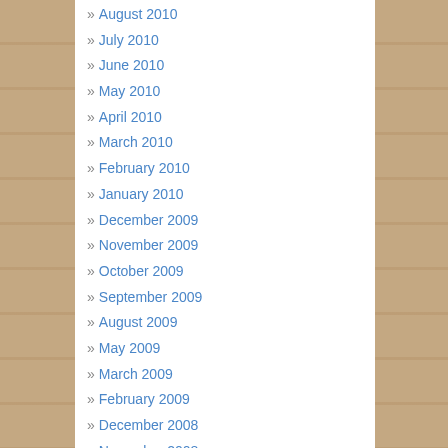» August 2010
» July 2010
» June 2010
» May 2010
» April 2010
» March 2010
» February 2010
» January 2010
» December 2009
» November 2009
» October 2009
» September 2009
» August 2009
» May 2009
» March 2009
» February 2009
» December 2008
» November 2008
» October 2008
» September 2008
» August 2008
Categories
» Architecture (24)
» BRM (4)